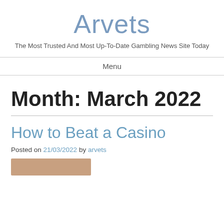Arvets
The Most Trusted And Most Up-To-Date Gambling News Site Today
Menu
Month: March 2022
How to Beat a Casino
Posted on 21/03/2022 by arvets